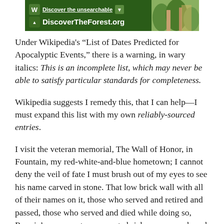[Figure (other): Advertisement banner for DiscoverTheForest.org with green forest background and hikers photo]
Under Wikipedia's “List of Dates Predicted for Apocalyptic Events,” there is a warning, in wary italics: This is an incomplete list, which may never be able to satisfy particular standards for completeness.
Wikipedia suggests I remedy this, that I can help—I must expand this list with my own reliably-sourced entries.
I visit the veteran memorial, The Wall of Honor, in Fountain, my red-white-and-blue hometown; I cannot deny the veil of fate I must brush out of my eyes to see his name carved in stone. That low brick wall with all of their names on it, those who served and retired and passed, those who served and died while doing so, Ronnie’s name on two separate bricks—one purchased by my mother, and the other by some anonymous person who watches and recognizes our loss,